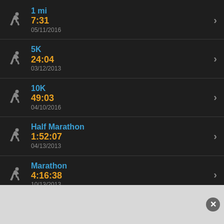1 mi | 7:31 | 05/11/2016
5K | 24:04 | 03/12/2013
10K | 49:03 | 04/10/2016
Half Marathon | 1:52:07 | 04/13/2013
Marathon | 4:16:38 | 10/13/2013
[Figure (other): Gray advertisement bar with close button]